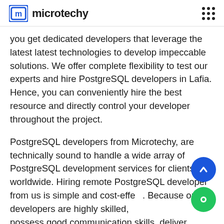microtechy
you get dedicated developers that leverage the latest latest technologies to develop impeccable solutions. We offer complete flexibility to test our experts and hire PostgreSQL developers in Lafia. Hence, you can conveniently hire the best resource and directly control your developer throughout the project.
PostgreSQL developers from Microtechy, are technically sound to handle a wide array of PostgreSQL development services for clients worldwide. Hiring remote PostgreSQL developer from us is simple and cost-effe... Because our developers are highly skilled, possess good communication skills, deliver